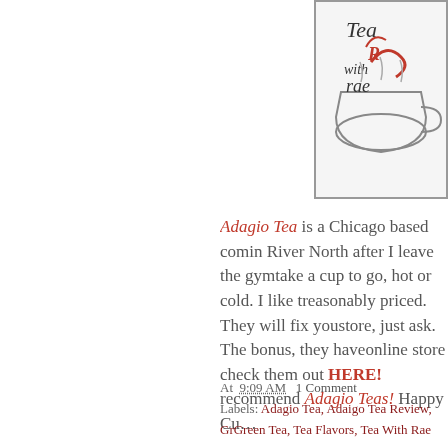[Figure (illustration): Blog logo image showing 'Tea with Rae' text in stylized script with tea cup illustration, red and black on white background]
Adagio Tea is a Chicago based company with a store in River North after I leave the gym I can stop in take a cup to go, hot or cold. I like that they are reasonably priced. They will fix you a custom blend in store, just ask. The bonus, they have a great online store check them out HERE! I highly recommend Adagio Teas! Happy Cu...
At 9:09 AM   1 Comment
Labels: Adagio Tea, Adaigo Tea Review, Gr... Green Tea, Tea Flavors, Tea With Rae